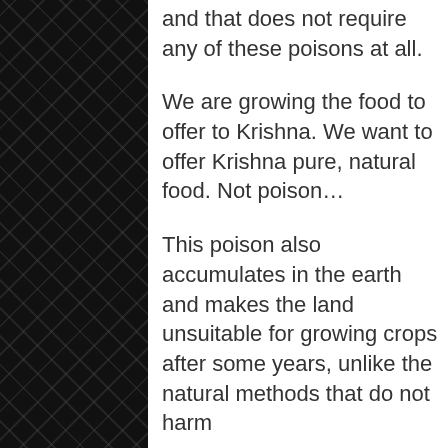and that does not require any of these poisons at all.
We are growing the food to offer to Krishna. We want to offer Krishna pure, natural food. Not poison…
This poison also accumulates in the earth and makes the land unsuitable for growing crops after some years, unlike the natural methods that do not harm